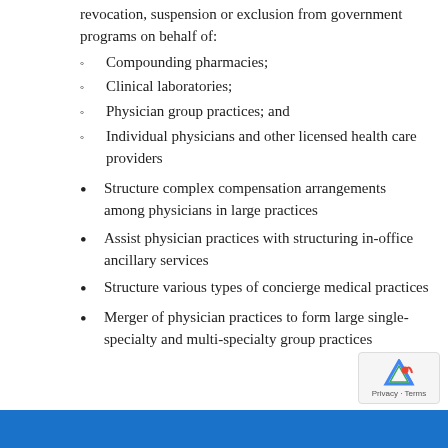revocation, suspension or exclusion from government programs on behalf of:
Compounding pharmacies;
Clinical laboratories;
Physician group practices; and
Individual physicians and other licensed health care providers
Structure complex compensation arrangements among physicians in large practices
Assist physician practices with structuring in-office ancillary services
Structure various types of concierge medical practices
Merger of physician practices to form large single-specialty and multi-specialty group practices